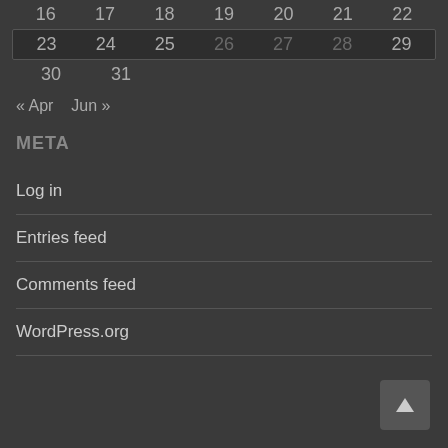| 16 | 17 | 18 | 19 | 20 | 21 | 22 |
| 23 | 24 | 25 | 26 | 27 | 28 | 29 |
| 30 | 31 |  |  |  |  |  |
« Apr   Jun »
META
Log in
Entries feed
Comments feed
WordPress.org